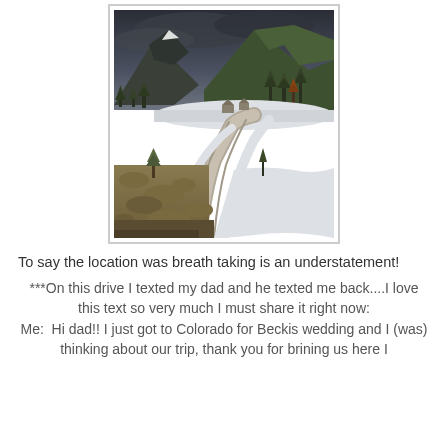[Figure (photo): Mountain landscape photo showing a winding road through a snowy valley with pine-covered mountains and dark storm clouds above.]
To say the location was breath taking is an understatement!
***On this drive I texted my dad and he texted me back....I love this text so very much I must share it right now: Me:  Hi dad!! I just got to Colorado for Beckis wedding and I (was) thinking about our trip, thank you for brining us here I